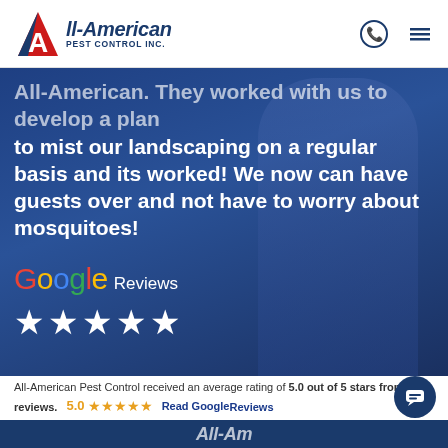All-American Pest Control Inc. [logo] [phone icon] [menu icon]
All-American. They worked with us to develop a plan to mist our landscaping on a regular basis and its worked! We now can have guests over and not have to worry about mosquitoes!
[Figure (logo): Google Reviews logo with white star rating (5 stars)]
All-American Pest Control received an average rating of 5.0 out of 5 stars from 925 reviews. 5.0 ★★★★★ Read Google Reviews